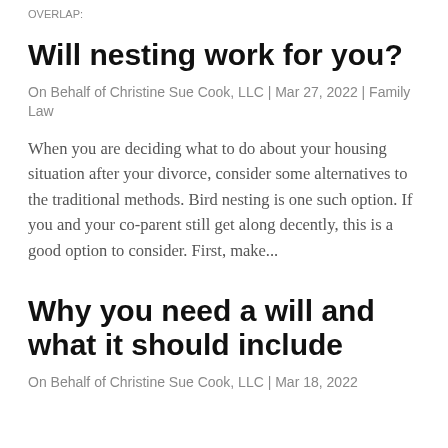OVERLAP:
Will nesting work for you?
On Behalf of Christine Sue Cook, LLC | Mar 27, 2022 | Family Law
When you are deciding what to do about your housing situation after your divorce, consider some alternatives to the traditional methods. Bird nesting is one such option. If you and your co-parent still get along decently, this is a good option to consider. First, make...
Why you need a will and what it should include
On Behalf of Christine Sue Cook, LLC | Mar 18, 2022